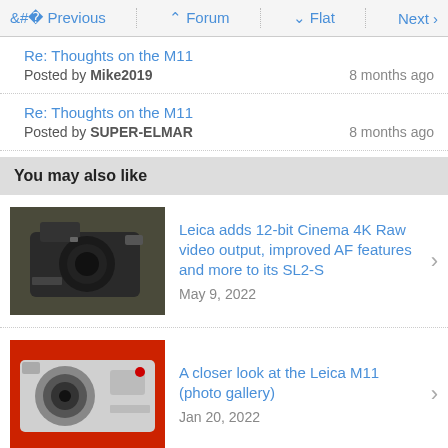< Previous | ^ Forum | v Flat | Next >
Re: Thoughts on the M11
Posted by Mike2019	8 months ago
Re: Thoughts on the M11
Posted by SUPER-ELMAR	8 months ago
You may also like
Leica adds 12-bit Cinema 4K Raw video output, improved AF features and more to its SL2-S
May 9, 2022
A closer look at the Leica M11 (photo gallery)
Jan 20, 2022
Leica M11 pre-production sample gallery
Jan 18, 2022